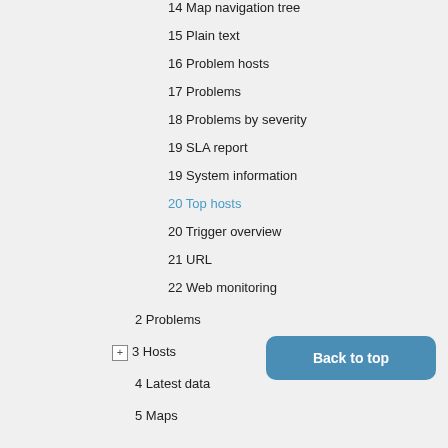14 Map navigation tree
15 Plain text
16 Problem hosts
17 Problems
18 Problems by severity
19 SLA report
19 System information
20 Top hosts
20 Trigger overview
21 URL
22 Web monitoring
2 Problems
3 Hosts
4 Latest data
5 Maps